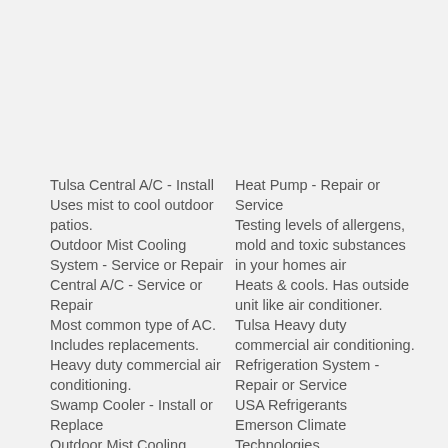Tulsa Central A/C - Install
Uses mist to cool outdoor patios.
Outdoor Mist Cooling System - Service or Repair
Central A/C - Service or Repair
Most common type of AC. Includes replacements.
Heavy duty commercial air conditioning.
Swamp Cooler - Install or Replace
Outdoor Mist Cooling System - Install
Heat Pump - Repair or Service
Testing levels of allergens, mold and toxic substances in your homes air
Heats & cools. Has outside unit like air conditioner.
Tulsa Heavy duty commercial air conditioning.
Refrigeration System - Repair or Service
USA Refrigerants
Emerson Climate Technologies
Goodman AC Systems